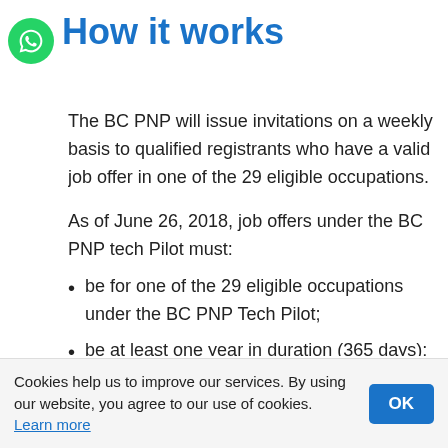How it works
The BC PNP will issue invitations on a weekly basis to qualified registrants who have a valid job offer in one of the 29 eligible occupations.
As of June 26, 2018, job offers under the BC PNP tech Pilot must:
be for one of the 29 eligible occupations under the BC PNP Tech Pilot;
be at least one year in duration (365 days); and
have 120 calendar days remaining at the time of application.
The free registration process includes providing information about the applicant's supporting B.C. employer. In order to be issued an invitation to apply,
Cookies help us to improve our services. By using our website, you agree to our use of cookies. Learn more